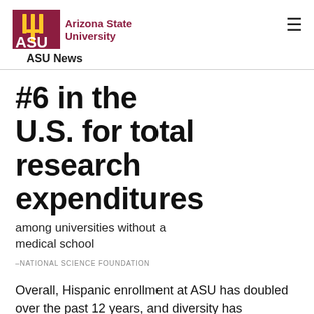Arizona State University — ASU News
#6 in the U.S. for total research expenditures
among universities without a medical school
–NATIONAL SCIENCE FOUNDATION
Overall, Hispanic enrollment at ASU has doubled over the past 12 years, and diversity has increased dramatically at the Fulton Schools. A centerpiece of the university, the engineering program has expanded from about 9,000 to 25,000 students in the last decade.